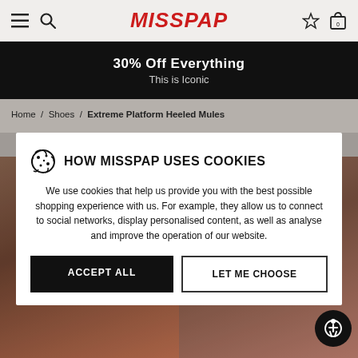MISSPAP — navigation bar with hamburger menu, search, logo, wishlist star, and bag icon
30% Off Everything
This is Iconic
Home / Shoes / Extreme Platform Heeled Mules
Extreme Platform Heeled Mules
[Figure (screenshot): Two side-by-side product images of brown platform heeled mules against a grey background, partially visible behind cookie consent modal]
HOW MISSPAP USES COOKIES
We use cookies that help us provide you with the best possible shopping experience with us. For example, they allow us to connect to social networks, display personalised content, as well as analyse and improve the operation of our website.
ACCEPT ALL
LET ME CHOOSE